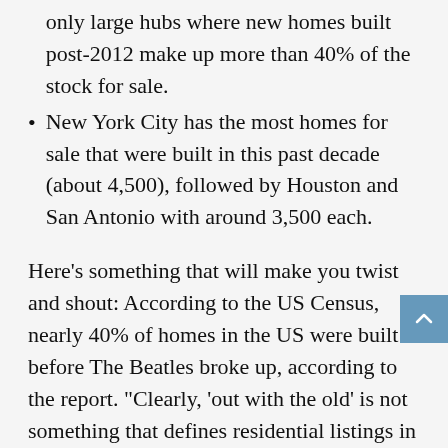only large hubs where new homes built post-2012 make up more than 40% of the stock for sale.
New York City has the most homes for sale that were built in this past decade (about 4,500), followed by Houston and San Antonio with around 3,500 each.
Here’s something that will make you twist and shout: According to the US Census, nearly 40% of homes in the US were built before The Beatles broke up, according to the report. “Clearly, ‘out with the old’ is not something that defines residential listings in the country — particularly in staples like Detroit, Baltimore, or Philadelphia, the report found.